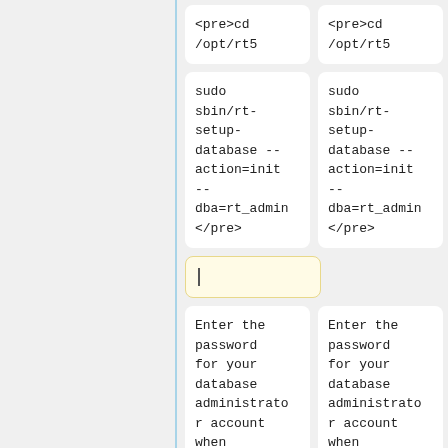<pre>cd /opt/rt5
<pre>cd /opt/rt5
sudo sbin/rt-setup-database --action=init --dba=rt_admin </pre>
sudo sbin/rt-setup-database --action=init --dba=rt_admin </pre>
Enter the password for your database administrator account when prompted.
Enter the password for your database administrator account when prompted.